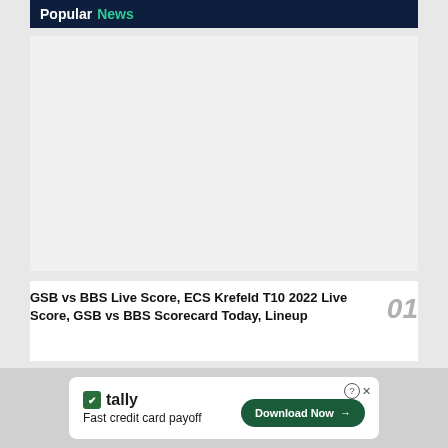Popular News
[Figure (photo): Large image placeholder area with light gray background]
GSB vs BBS Live Score, ECS Krefeld T10 2022 Live Score, GSB vs BBS Scorecard Today, Lineup
[Figure (infographic): Advertisement banner: Tally - Fast credit card payoff, Download Now button]